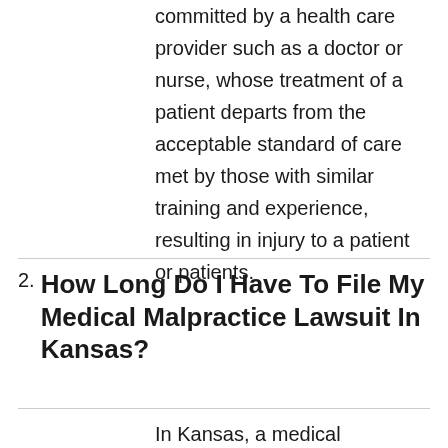committed by a health care provider such as a doctor or nurse, whose treatment of a patient departs from the acceptable standard of care met by those with similar training and experience, resulting in injury to a patient or patients.
2. How Long Do I Have To File My Medical Malpractice Lawsuit In Kansas?
In Kansas, a medical malpractice case